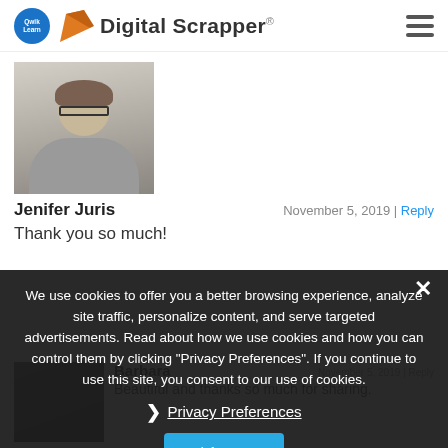Digital Scrapper®
[Figure (photo): Profile photo of a woman with glasses and short brown hair]
Jenifer Juris    November 5, 2019 | Reply
Thank you so much!
We use cookies to offer you a better browsing experience, analyze site traffic, personalize content, and serve targeted advertisements. Read about how we use cookies and how you can control them by clicking "Privacy Preferences". If you continue to use this site, you consent to our use of cookies.
❯ Privacy Preferences
I Agree
[Figure (photo): Partially visible profile photo of Barbara]
Barbara    November 5, 2019 | Reply
Beautiful and thanks so much for sharing.